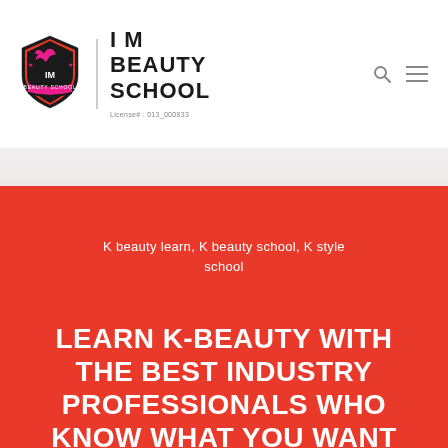[Figure (logo): I M Beauty School logo with shield shape, pink color, bird silhouette, stars, and IM lettering with banner reading BEAUTY SCHOOL]
I M BEAUTY SCHOOL
License# : 013_000833
K beauty learn, K beauty school, K style school
LEARN K-BEAUTY WITH THE BEST INDUSTRY PROFESSIONALS WHO KNOW WHAT YOU WANT TO BE AND WHO ARE